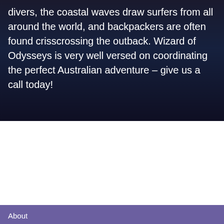divers, the coastal waves draw surfers from all around the world, and backpackers are often found crisscrossing the outback. Wizard of Odysseys is very well versed on coordinating the perfect Australian adventure – give us a call today!
MORE INSPIRATION?
About